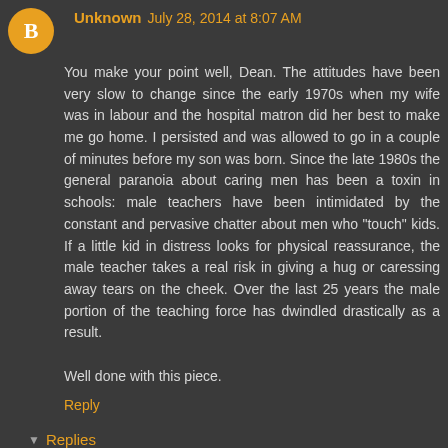Unknown July 28, 2014 at 8:07 AM
You make your point well, Dean. The attitudes have been very slow to change since the early 1970s when my wife was in labour and the hospital matron did her best to make me go home. I persisted and was allowed to go in a couple of minutes before my son was born. Since the late 1980s the general paranoia about caring men has been a toxin in schools: male teachers have been intimidated by the constant and pervasive chatter about men who "touch" kids. If a little kid in distress looks for physical reassurance, the male teacher takes a real risk in giving a hug or caressing away tears on the cheek. Over the last 25 years the male portion of the teaching force has dwindled drastically as a result.

Well done with this piece.
Reply
Replies
DeanfromAustralia July 28, 2014 at 2:39